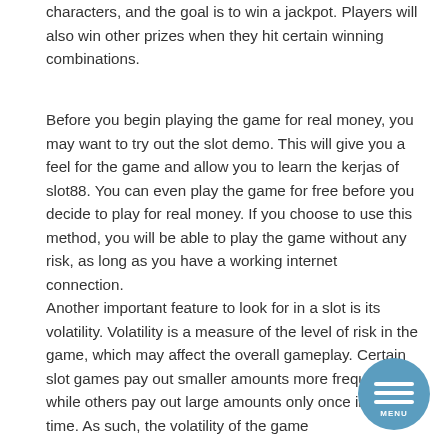characters, and the goal is to win a jackpot. Players will also win other prizes when they hit certain winning combinations.
Before you begin playing the game for real money, you may want to try out the slot demo. This will give you a feel for the game and allow you to learn the kerjas of slot88. You can even play the game for free before you decide to play for real money. If you choose to use this method, you will be able to play the game without any risk, as long as you have a working internet connection.
Another important feature to look for in a slot is its volatility. Volatility is a measure of the level of risk in the game, which may affect the overall gameplay. Certain slot games pay out smaller amounts more frequently while others pay out large amounts only once in a long time. As such, the volatility of the game
[Figure (other): Circular blue menu button with three horizontal white lines and MENU text label]